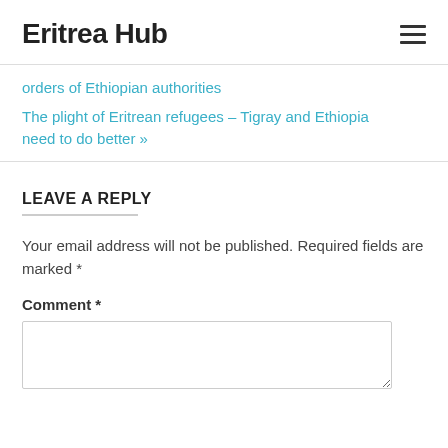Eritrea Hub
orders of Ethiopian authorities
The plight of Eritrean refugees – Tigray and Ethiopia need to do better »
LEAVE A REPLY
Your email address will not be published. Required fields are marked *
Comment *